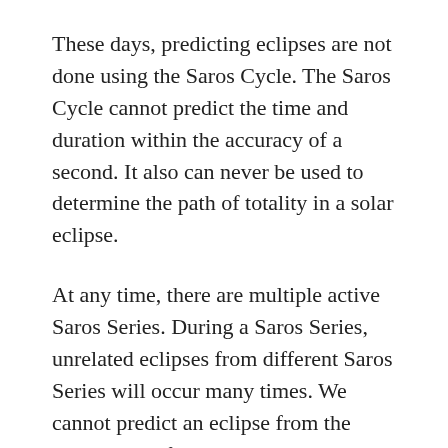These days, predicting eclipses are not done using the Saros Cycle. The Saros Cycle cannot predict the time and duration within the accuracy of a second. It also can never be used to determine the path of totality in a solar eclipse.
At any time, there are multiple active Saros Series. During a Saros Series, unrelated eclipses from different Saros Series will occur many times. We cannot predict an eclipse from the occurrence of another eclipse that belongs to another Saros Series.
Eventually, a Saros Series will end, and there will no longer be another eclipse from the